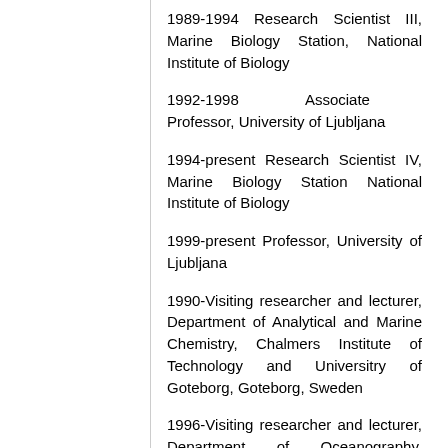1989-1994 Research Scientist III, Marine Biology Station, National Institute of Biology
1992-1998 Associate Professor, University of Ljubljana
1994-present Research Scientist IV, Marine Biology Station National Institute of Biology
1999-present Professor, University of Ljubljana
1990-Visiting researcher and lecturer, Department of Analytical and Marine Chemistry, Chalmers Institute of Technology and Universitry of Goteborg, Goteborg, Sweden
1996-Visiting researcher and lecturer, Department of Oceanography, University of Washington, Seattle, USA